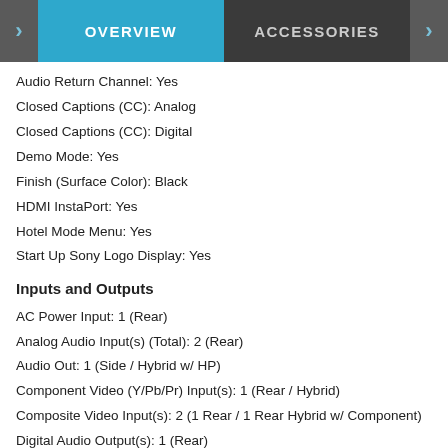OVERVIEW | ACCESSORIES
Audio Return Channel: Yes
Closed Captions (CC): Analog
Closed Captions (CC): Digital
Demo Mode: Yes
Finish (Surface Color): Black
HDMI InstaPort: Yes
Hotel Mode Menu: Yes
Start Up Sony Logo Display: Yes
Inputs and Outputs
AC Power Input: 1 (Rear)
Analog Audio Input(s) (Total): 2 (Rear)
Audio Out: 1 (Side / Hybrid w/ HP)
Component Video (Y/Pb/Pr) Input(s): 1 (Rear / Hybrid)
Composite Video Input(s): 2 (1 Rear / 1 Rear Hybrid w/ Component)
Digital Audio Output(s): 1 (Rear)
Ethernet Connection(s): 1 (Rear)
HDMI PC Input Format: 640x480@60Hz
HDMI PC Input Format: 800x600@60Hz